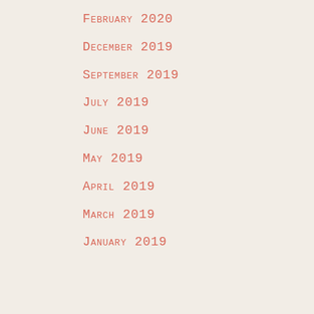February 2020
December 2019
September 2019
July 2019
June 2019
May 2019
April 2019
March 2019
January 2019